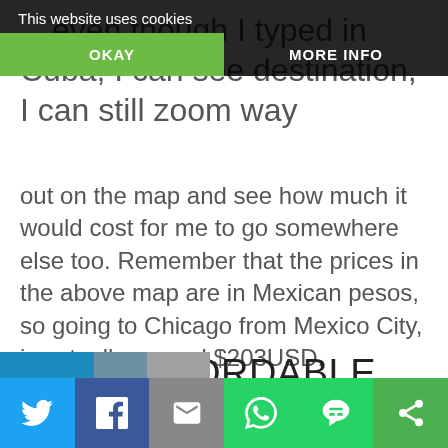…even though I typed in Cuba, I can see destination, I can still zoom way out on the map and see how much it would cost for me to go somewhere else too. Remember that the prices in the above map are in Mexican pesos, so going to Chicago from Mexico City, is actually around $203USD.
FIND AFFORDABLE TRANSPORTATION WITH CHEAP BUS TICKETS
[Figure (screenshot): Cookie consent overlay with OKAY and MORE INFO buttons on dark background]
[Figure (screenshot): Social share bar with Twitter, Facebook, Email, WhatsApp, SMS, and other share buttons]